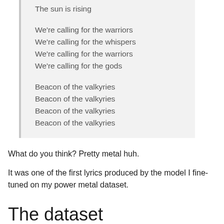The sun is rising

We're calling for the warriors
We're calling for the whispers
We're calling for the warriors
We're calling for the gods

Beacon of the valkyries
Beacon of the valkyries
Beacon of the valkyries
Beacon of the valkyries
What do you think? Pretty metal huh.
It was one of the first lyrics produced by the model I fine-tuned on my power metal dataset.
The dataset
The new dataset I prepared contains 10 times more data than the first one I prepared, totals of 500...